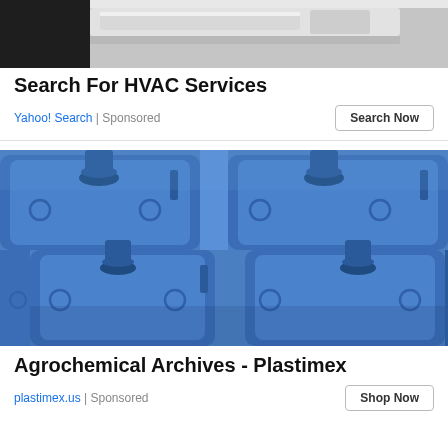[Figure (photo): Partial top image showing what appears to be HVAC or appliance equipment with metallic/gray tones]
Search For HVAC Services
Yahoo! Search | Sponsored
[Figure (photo): Rows of blue plastic jerrycans/containers stacked together, photographed close up showing their spouts and handles]
Agrochemical Archives - Plastimex
plastimex.us | Sponsored